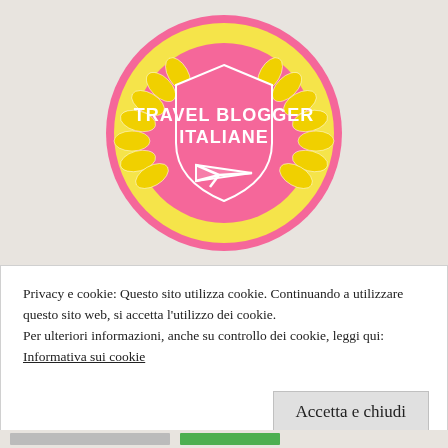[Figure (logo): Travel Blogger Italiane badge: a circular pink and yellow laurel wreath badge with a pink shield in the center containing white bold text 'TRAVEL BLOGGER ITALIANE' and a white paper airplane icon below the text.]
Privacy e cookie: Questo sito utilizza cookie. Continuando a utilizzare questo sito web, si accetta l'utilizzo dei cookie.
Per ulteriori informazioni, anche su controllo dei cookie, leggi qui:
Informativa sui cookie
Accetta e chiudi